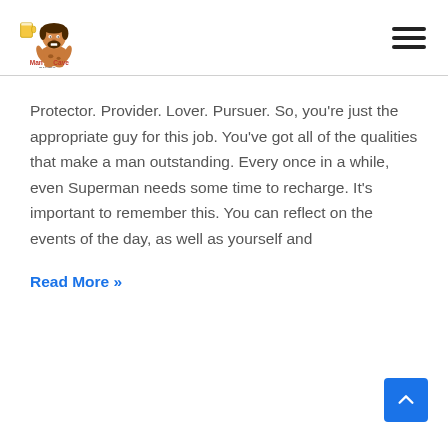[Figure (logo): Man Cave Faves logo with cartoon caveman holding a beer mug, text reads Man Cave Faves]
Protector. Provider. Lover. Pursuer. So, you're just the appropriate guy for this job. You've got all of the qualities that make a man outstanding. Every once in a while, even Superman needs some time to recharge. It's important to remember this. You can reflect on the events of the day, as well as yourself and
Read More »